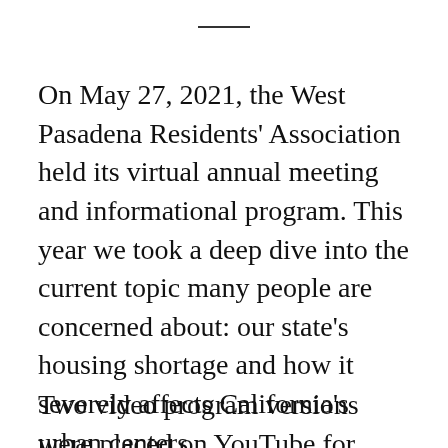On May 27, 2021, the West Pasadena Residents' Association held its virtual annual meeting and informational program. This year we took a deep dive into the current topic many people are concerned about: our state's housing shortage and how it severely affects California's urban centers.
Two video program versions were placed on YouTube for public viewing